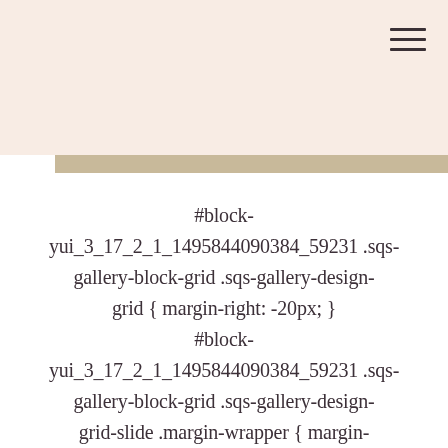[Figure (screenshot): Peach/pink header bar with hamburger menu icon in top right corner, and a tan/beige horizontal bar below it]
#block-yui_3_17_2_1_1495844090384_59231 .sqs-gallery-block-grid .sqs-gallery-design-grid { margin-right: -20px; } #block-yui_3_17_2_1_1495844090384_59231 .sqs-gallery-block-grid .sqs-gallery-design-grid-slide .margin-wrapper { margin-right: 20px; margin-bottom: 20px; }